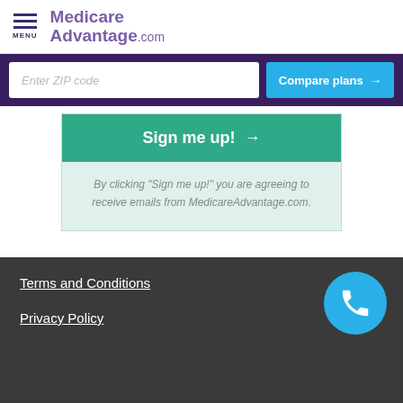MENU | MedicareAdvantage.com
Enter ZIP code | Compare plans →
Sign me up! →
By clicking "Sign me up!" you are agreeing to receive emails from MedicareAdvantage.com.
Terms and Conditions
Privacy Policy